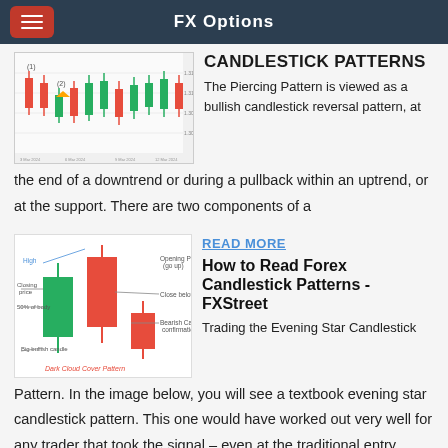FX Options
[Figure (screenshot): Candlestick chart showing forex price action with red and green candlesticks and numbered labels]
CANDLESTICK PATTERNS
The Piercing Pattern is viewed as a bullish candlestick reversal pattern, at the end of a downtrend or during a pullback within an uptrend, or at the support. There are two components of a
[Figure (illustration): Dark Cloud Cover Pattern diagram showing bullish and bearish candlesticks with labels: High, Opening Price (go up), Closing price, Close below 50%, 50% of body, Bearish Candle confirmation, Big bullish candle, Dark Cloud Cover Pattern]
READ MORE
How to Read Forex Candlestick Patterns - FXStreet
Trading the Evening Star Candlestick Pattern. In the image below, you will see a textbook evening star candlestick pattern. This one would have worked out very well for any trader that took the signal – even at the traditional entry (when price breaks the low of the third candlestick).